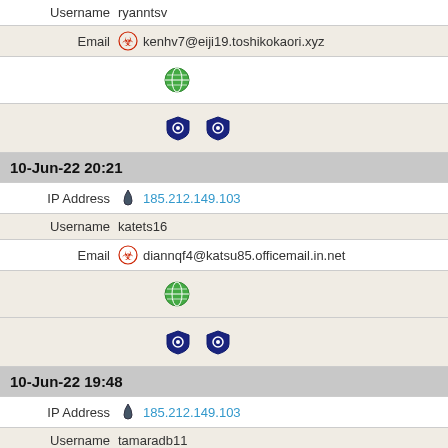Username   ryanntsv
Email   kenhv7@eiji19.toshikokaori.xyz
[Figure (other): Globe icon (green)]
[Figure (other): Two shield/lock icons (dark blue)]
10-Jun-22 20:21
IP Address   185.212.149.103
Username   katets16
Email   diannqf4@katsu85.officemail.in.net
[Figure (other): Globe icon (green)]
[Figure (other): Two shield/lock icons (dark blue)]
10-Jun-22 19:48
IP Address   185.212.149.103
Username   tamaradb11
Email   noraxv18@katsu85.officemail.in.net
[Figure (other): Globe icon (green)]
[Figure (other): Two shield/lock icons (dark blue)]
10-Jun-22 19:00